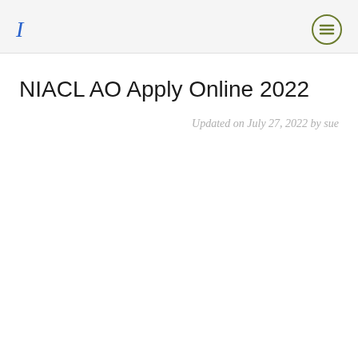I
NIACL AO Apply Online 2022
Updated on July 27, 2022 by sue